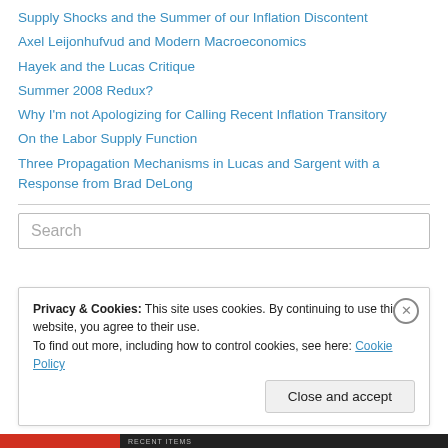Supply Shocks and the Summer of our Inflation Discontent
Axel Leijonhufvud and Modern Macroeconomics
Hayek and the Lucas Critique
Summer 2008 Redux?
Why I'm not Apologizing for Calling Recent Inflation Transitory
On the Labor Supply Function
Three Propagation Mechanisms in Lucas and Sargent with a Response from Brad DeLong
Search
Privacy & Cookies: This site uses cookies. By continuing to use this website, you agree to their use. To find out more, including how to control cookies, see here: Cookie Policy
Close and accept